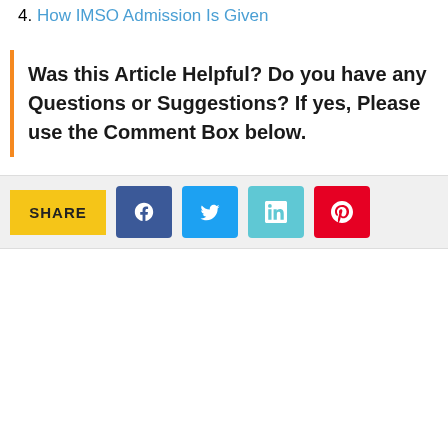4. How IMSO Admission Is Given
Was this Article Helpful? Do you have any Questions or Suggestions? If yes, Please use the Comment Box below.
[Figure (infographic): Share bar with social media buttons: Facebook, Twitter, LinkedIn, Pinterest]